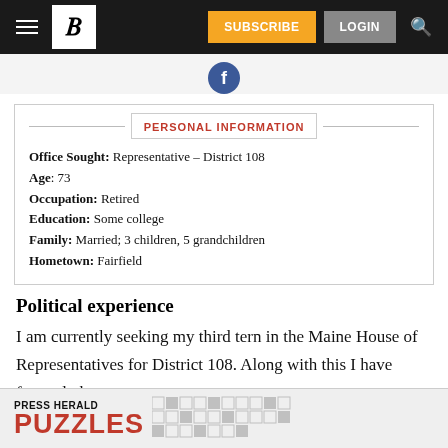Portland Press Herald – Navigation bar with hamburger menu, logo, SUBSCRIBE, LOGIN, search
[Figure (logo): Facebook circular icon (blue)]
PERSONAL INFORMATION
Office Sought: Representative – District 108
Age: 73
Occupation: Retired
Education: Some college
Family: Married; 3 children, 5 grandchildren
Hometown: Fairfield
Political experience
I am currently seeking my third tern in the Maine House of Representatives for District 108. Along with this I have formerly been
[Figure (other): Press Herald Puzzles advertisement banner at page bottom]